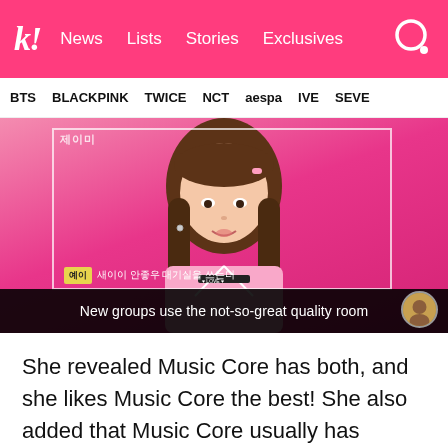k! News  Lists  Stories  Exclusives
BTS  BLACKPINK  TWICE  NCT  aespa  IVE  SEVE
[Figure (screenshot): Video screenshot of a young woman with long brown hair in a pink striped top against a hot pink background. A Korean subtitle tag reads '예이' and Korean text overlay. Black bar at bottom reads: 'New groups use the not-so-great quality room']
She revealed Music Core has both, and she likes Music Core the best! She also added that Music Core usually has rooms for every group.